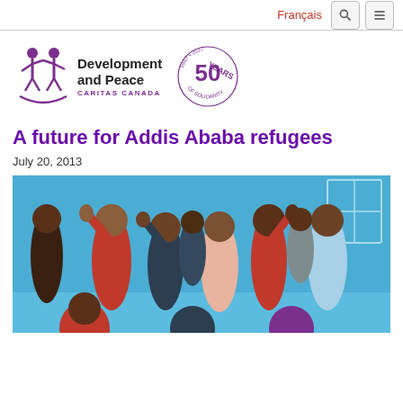Français
[Figure (logo): Development and Peace – Caritas Canada logo with two figures and 50 Years of Solidarity badge]
A future for Addis Ababa refugees
July 20, 2013
[Figure (photo): Group of children waving and smiling in front of a bright blue wall, some raising their hands]